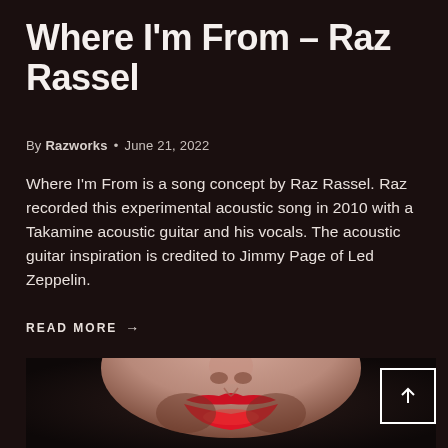Where I'm From – Raz Rassel
By Razworks • June 21, 2022
Where I'm From is a song concept by Raz Rassel. Raz recorded this experimental acoustic song in 2010 with a Takamine acoustic guitar and his vocals. The acoustic guitar inspiration is credited to Jimmy Page of Led Zeppelin.
READ MORE →
[Figure (photo): Close-up photo of a person's lower face showing nose and red lips against a dark background]